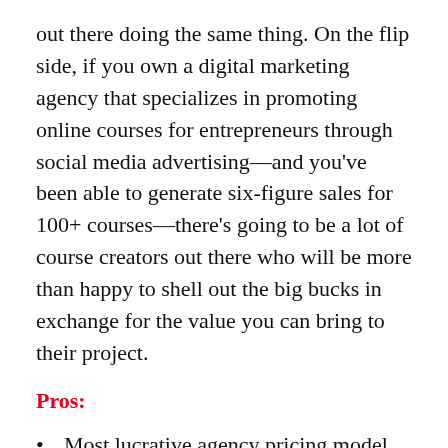out there doing the same thing. On the flip side, if you own a digital marketing agency that specializes in promoting online courses for entrepreneurs through social media advertising—and you've been able to generate six-figure sales for 100+ courses—there's going to be a lot of course creators out there who will be more than happy to shell out the big bucks in exchange for the value you can bring to their project.
Pros:
Most lucrative agency pricing model
Easiest model to scale (as it's typically the